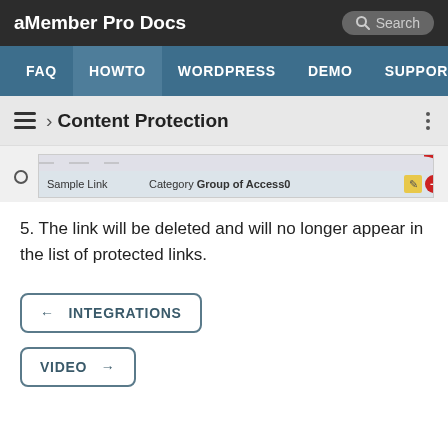aMember Pro Docs
FAQ  HOWTO  WORDPRESS  DEMO  SUPPORT
› Content Protection
[Figure (screenshot): Screenshot showing a table row with 'Sample Link' and 'Category Group of Access0' columns, with edit and delete icons on the right. A red delete button is highlighted.]
5. The link will be deleted and will no longer appear in the list of protected links.
← INTEGRATIONS
VIDEO →